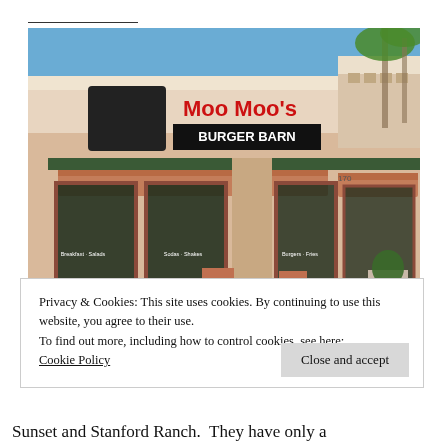[Figure (photo): Exterior photo of Moo Moo's Burger Barn restaurant storefront with red awnings, large windows with text, and a sign showing the Moo Moo's Burger Barn logo against a blue sky with palm trees.]
Privacy & Cookies: This site uses cookies. By continuing to use this website, you agree to their use.
To find out more, including how to control cookies, see here:
Cookie Policy
Close and accept
Sunset and Stanford Ranch.  They have only a